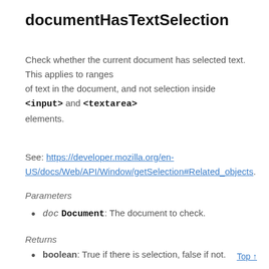documentHasTextSelection
Check whether the current document has selected text. This applies to ranges of text in the document, and not selection inside <input> and <textarea> elements.
See: https://developer.mozilla.org/en-US/docs/Web/API/Window/getSelection#Related_objects.
Parameters
doc Document: The document to check.
Returns
boolean: True if there is selection, false if not.
Top ↑